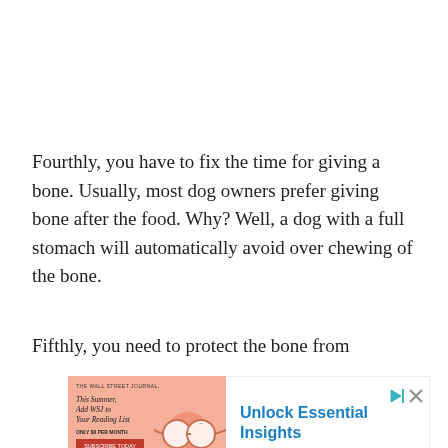Fourthly, you have to fix the time for giving a bone. Usually, most dog owners prefer giving bone after the food. Why? Well, a dog with a full stomach will automatically avoid over chewing of the bone.
Fifthly, you need to protect the bone from
[Figure (other): Advertisement banner for The Wall Street Journal showing an illustration with glasses on a pink/salmon background, with text 'Unlock Essential Insights' in blue.]
Ad